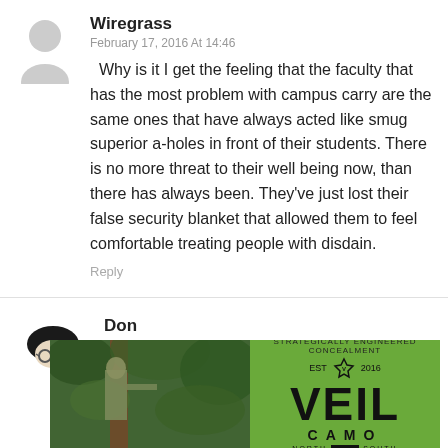[Figure (illustration): Generic grey avatar silhouette icon for user Wiregrass]
Wiregrass
February 17, 2016 At 14:46
Why is it I get the feeling that the faculty that has the most problem with campus carry are the same ones that have always acted like smug superior a-holes in front of their students. There is no more threat to their well being now, than there has always been. They've just lost their false security blanket that allowed them to feel comfortable treating people with disdain.
Reply
[Figure (illustration): Avatar icon showing a person with glasses and dark hat for user Don]
Don
February 17, 2016 At 18:21
[Figure (photo): Person in camouflage climbing a tree in a forest, beside a green Veil Camo advertisement banner]